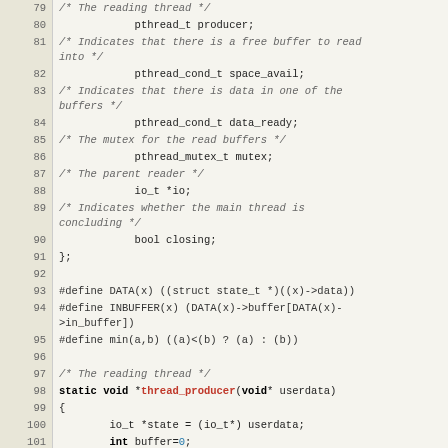[Figure (screenshot): Source code listing in C, lines 79 through 107, showing a struct definition with pthread and io fields, preprocessor macros, and the beginning of a thread_producer function.]